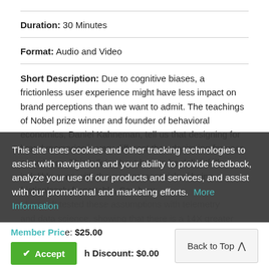Duration: 30 Minutes
Format: Audio and Video
Short Description: Due to cognitive biases, a frictionless user experience might have less impact on brand perceptions than we want to admit. The teachings of Nobel prize winner and founder of behavioral economics, Daniel Kahneman, tell us that designing for brand memories is very different than designing for user experience. This talk is about how to be delightfully indelible even with the ever-present risk of being frictionlessly forgettable. See how Microsoft tested these assumptions with telemetry and data science, showing that there is a 14X greater ROI for creating peak moments than eliminating pit moments from brand memories.
This site uses cookies and other tracking technologies to assist with navigation and your ability to provide feedback, analyze your use of our products and services, and assist with our promotional and marketing efforts. More Information
Member Price: $25.00
Member Discount: $0.00